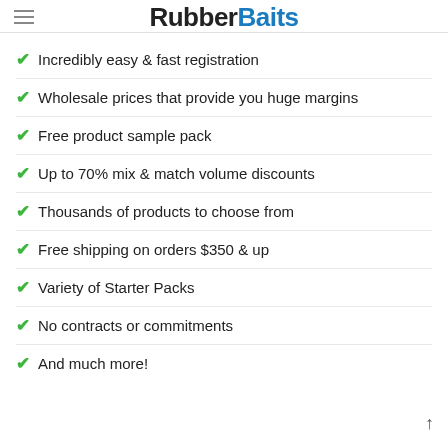RubberBaits
Incredibly easy & fast registration
Wholesale prices that provide you huge margins
Free product sample pack
Up to 70% mix & match volume discounts
Thousands of products to choose from
Free shipping on orders $350 & up
Variety of Starter Packs
No contracts or commitments
And much more!